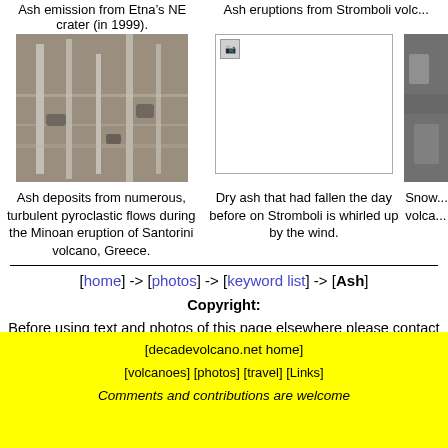Ash emission from Etna's NE crater (in 1999). / Ash eruptions from Stromboli volcano (partial)
[Figure (photo): Ash deposits photo - rock face with white streaks, Santorini]
[Figure (photo): Broken/missing image placeholder for Stromboli dry ash photo]
[Figure (photo): Partial photo on right edge - snow/volcanic scene]
Ash deposits from numerous, turbulent pyroclastic flows during the Minoan eruption of Santorini volcano, Greece.
Dry ash that had fallen the day before on Stromboli is whirled up by the wind.
Snow... volca...
[home] -> [photos] -> [keyword list] -> [Ash]
Copyright:
Before using text and photos of this page elsewhere please contact Tom Pfeiffer.
[decadevolcano.net home]
[volcanoes] [photos] [travel] [Links]
Comments and contributions are welcome